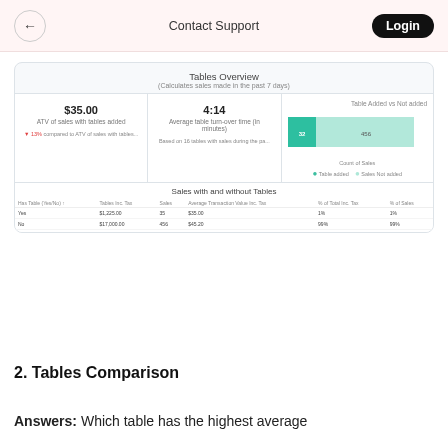← Contact Support Login
[Figure (screenshot): Tables Overview dashboard showing ATV of sales with tables added ($35.00), Average table turn-over time (4:14 minutes), Table Added vs Not added bar chart with counts 32 and 456, and a 'Sales with and without Tables' data table.]
2. Tables Comparison
Answers: Which table has the highest average